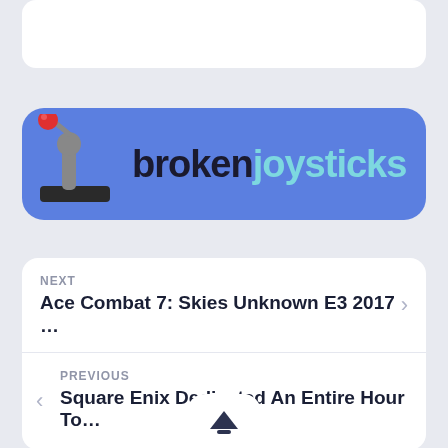[Figure (logo): Broken Joysticks website logo — blue rounded rectangle background with a joystick illustration on the left and the text 'brokenjoysticks' where 'broken' is dark and 'joysticks' is light teal]
NEXT
Ace Combat 7: Skies Unknown E3 2017 …
PREVIOUS
Square Enix Dedicated An Entire Hour To…